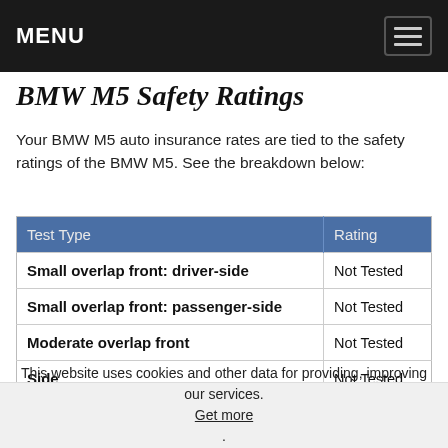MENU
BMW M5 Safety Ratings
Your BMW M5 auto insurance rates are tied to the safety ratings of the BMW M5. See the breakdown below:
| Test Type | Rating |
| --- | --- |
| Small overlap front: driver-side | Not Tested |
| Small overlap front: passenger-side | Not Tested |
| Moderate overlap front | Not Tested |
| Side | Not Tested |
| Roof strength | Not Tested |
| Head restraints and seats | Not Tested |
| Source: Insurance Institute for Highway Safety |  |
Compare RatesStart Now
This website uses cookies and other data for providing, improving our services. Get more. Got it